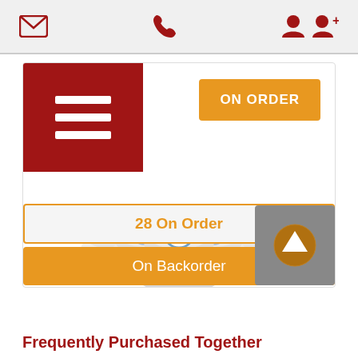Navigation header with email, phone, and user account icons
[Figure (screenshot): Red hamburger menu button (three white horizontal lines on dark red background) top left of product card]
ON ORDER
[Figure (photo): Five white Ubiquiti UniFi UAP nano HD wireless access points arranged in a fan/group display]
UAP-NANOHD-5
Ubiquiti UniFi UAP nano
£828.00 inc vat
MORE INFO
28 On Order
On Backorder
Frequently Purchased Together